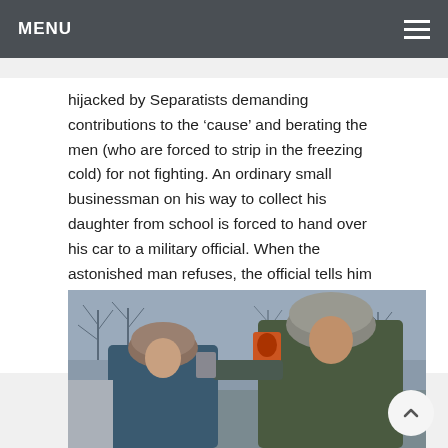MENU
hijacked by Separatists demanding contributions to the ‘cause’ and berating the men (who are forced to strip in the freezing cold) for not fighting. An ordinary small businessman on his way to collect his daughter from school is forced to hand over his car to a military official. When the astonished man refuses, the official tells him that they have accessed his bank account and he will be forced to turn over his money if he does not cooperate.
[Figure (photo): Two men in winter fur hats outside in a cold winter setting with bare trees in the background. One man appears to be confronting the other, holding something up to his face.]